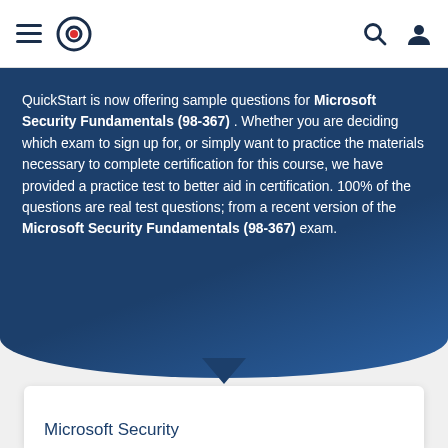QuickStart navigation bar with hamburger menu, logo, search and user icons
QuickStart is now offering sample questions for Microsoft Security Fundamentals (98-367) . Whether you are deciding which exam to sign up for, or simply want to practice the materials necessary to complete certification for this course, we have provided a practice test to better aid in certification. 100% of the questions are real test questions; from a recent version of the Microsoft Security Fundamentals (98-367) exam.
Microsoft Security